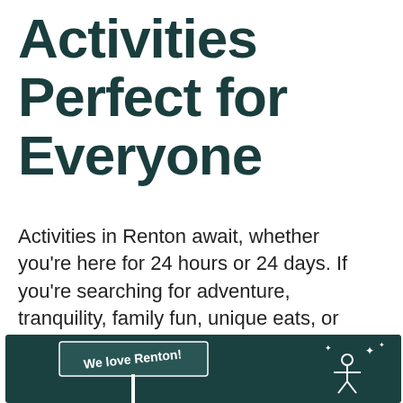Activities Perfect for Everyone
Activities in Renton await, whether you're here for 24 hours or 24 days. If you're searching for adventure, tranquility, family fun, unique eats, or local shopping, Renton is the right destination for you.
[Figure (photo): Dark teal banner image with handwritten-style text 'We love Renton!' and a sign post illustration with a star/person icon on the right side]